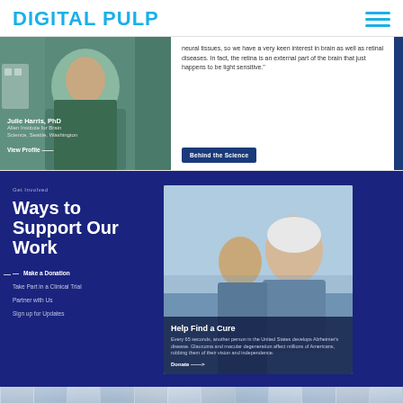DIGITAL PULP
[Figure (photo): Screenshot of a website showing a scientist/researcher (Julie Harris, PhD, Allen Institute for Brain Science, Seattle, Washington) with a 'View Profile' link and a quote about neural tissues and retinal diseases, with a 'Behind the Science' button]
neural tissues, so we have a very keen interest in brain as well as retinal diseases. In fact, the retina is an external part of the brain that just happens to be light sensitive."
Ways to Support Our Work
Get Involved
Make a Donation
Take Part in a Clinical Trial
Partner with Us
Sign up for Updates
[Figure (photo): Photo of an elderly man and a young boy smiling together, overlaid with 'Help Find a Cure' text and description about Alzheimer's disease, glaucoma and macular degeneration, with a Donate link]
Help Find a Cure
Every 65 seconds, another person in the United States develops Alzheimer's disease. Glaucoma and macular degeneration affect millions of Americans, robbing them of their vision and independence.
[Figure (photo): Bottom strip showing a collage of diverse people's faces in muted blue-grey tones]